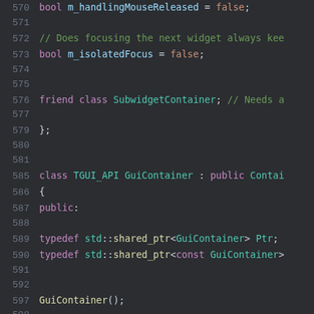[Figure (screenshot): Source code editor screenshot showing C++ code with syntax highlighting on a dark background. Lines 570-608 are visible showing class member declarations and a new class definition for GuiContainer.]